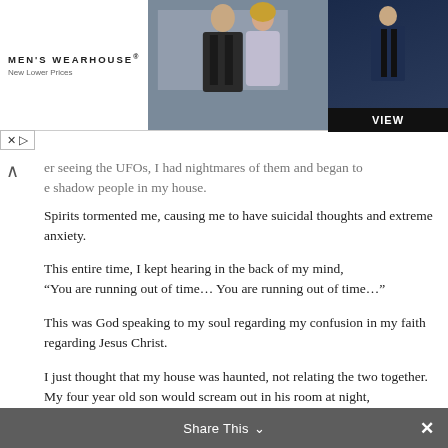[Figure (screenshot): Men's Wearhouse advertisement banner showing a couple in formal wear and a man in a blue suit, with a VIEW button]
er seeing the UFOs, I had nightmares of them and began to see shadow people in my house.
Spirits tormented me, causing me to have suicidal thoughts and extreme anxiety.

This entire time, I kept hearing in the back of my mind, “You are running out of time… You are running out of time…”

This was God speaking to my soul regarding my confusion in my faith regarding Jesus Christ.

I just thought that my house was haunted, not relating the two together.
My four year old son would scream out in his room at night, “NO! NO! NO! NO!”
as if there was something in there with him. It happened several times.

One night he was screaming and I saw a dark shadow wrestling with him when I went into his room.  It was too dark for me to make out exactly what it was. It appeared to me as if
Share This